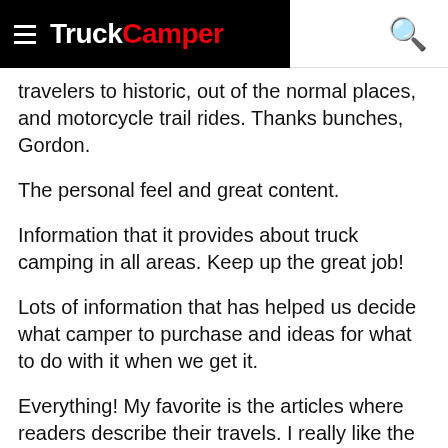TruckCamper
travelers to historic, out of the normal places, and motorcycle trail rides.  Thanks bunches, Gordon.
The personal feel and great content.
Information that it provides about truck camping in all areas.  Keep up the great job!
Lots of information that has helped us decide what camper to purchase and ideas for what to do with it when we get it.
Everything!  My favorite is the articles where readers describe their travels.  I really like the writing and the way the articles and website are done.  A perfect balance of informative and informal, very well done.